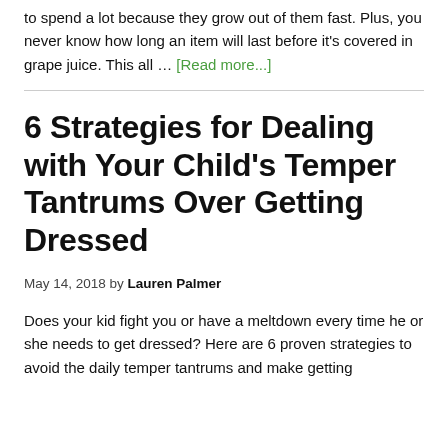to spend a lot because they grow out of them fast. Plus, you never know how long an item will last before it's covered in grape juice. This all … [Read more...]
6 Strategies for Dealing with Your Child's Temper Tantrums Over Getting Dressed
May 14, 2018 by Lauren Palmer
Does your kid fight you or have a meltdown every time he or she needs to get dressed? Here are 6 proven strategies to avoid the daily temper tantrums and make getting